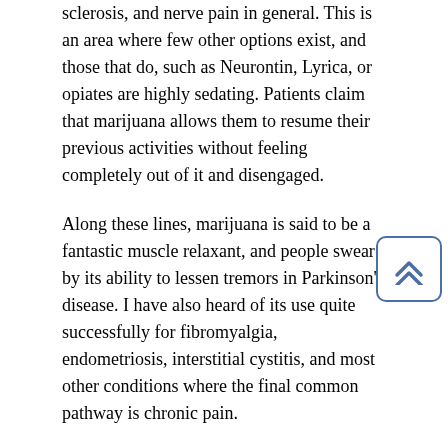sclerosis, and nerve pain in general. This is an area where few other options exist, and those that do, such as Neurontin, Lyrica, or opiates are highly sedating. Patients claim that marijuana allows them to resume their previous activities without feeling completely out of it and disengaged.
Along these lines, marijuana is said to be a fantastic muscle relaxant, and people swear by its ability to lessen tremors in Parkinson's disease. I have also heard of its use quite successfully for fibromyalgia, endometriosis, interstitial cystitis, and most other conditions where the final common pathway is chronic pain.
Marijuana is also used to manage nausea and weight loss and can be used to treat glaucoma. A highly promising area of research is its use for PTSD in veterans who are returning from combat zones. Many veterans and their therapists report drastic improvement and clamor for more studies, and for a loosening of governmental restrictions on its study. Medical marijuana is also reported to help patients suffering from pain and wasting